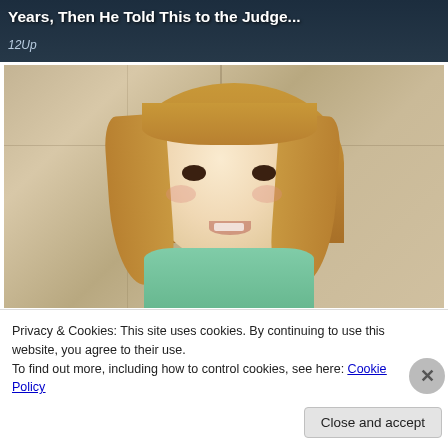Years, Then He Told This to the Judge...
12Up
[Figure (photo): Close-up photo of a young blonde child with brown eyes wearing a teal/mint shirt, photographed against a rustic wooden wall background]
Privacy & Cookies: This site uses cookies. By continuing to use this website, you agree to their use.
To find out more, including how to control cookies, see here: Cookie Policy
Close and accept